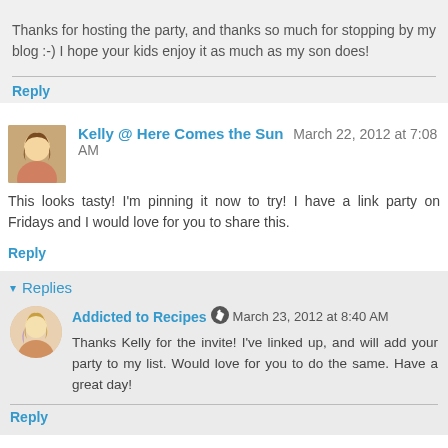Thanks for hosting the party, and thanks so much for stopping by my blog :-) I hope your kids enjoy it as much as my son does!
Reply
Kelly @ Here Comes the Sun  March 22, 2012 at 7:08 AM
This looks tasty! I'm pinning it now to try! I have a link party on Fridays and I would love for you to share this.
Reply
Replies
Addicted to Recipes  March 23, 2012 at 8:40 AM
Thanks Kelly for the invite! I've linked up, and will add your party to my list. Would love for you to do the same. Have a great day!
Reply